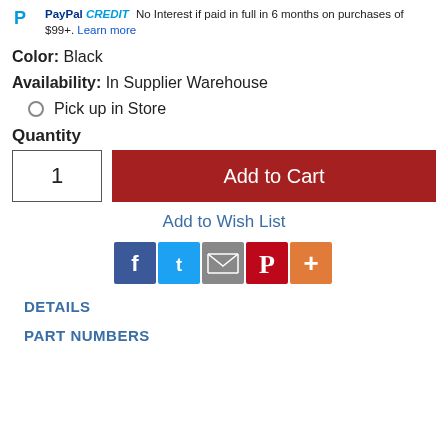PayPal CREDIT No Interest if paid in full in 6 months on purchases of $99+. Learn more
Color: Black
Availability: In Supplier Warehouse
Pick up in Store
Quantity
1  Add to Cart
Add to Wish List
[Figure (other): Social sharing icons: Facebook, Twitter, Email, Pinterest, More]
DETAILS
PART NUMBERS